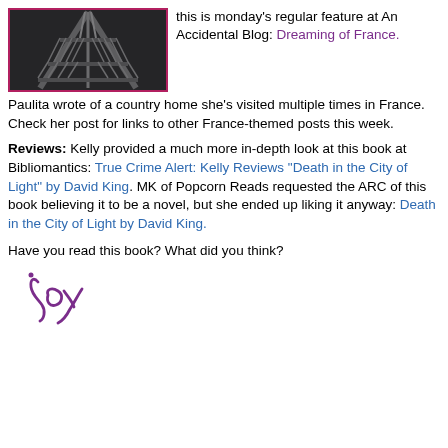[Figure (photo): Black and white photo of the Eiffel Tower structure, close-up showing iron lattice, with a magenta/pink border]
this is monday's regular feature at An Accidental Blog: Dreaming of France.
Paulita wrote of a country home she's visited multiple times in France. Check her post for links to other France-themed posts this week.
Reviews: Kelly provided a much more in-depth look at this book at Bibliomantics: True Crime Alert: Kelly Reviews “Death in the City of Light” by David King. MK of Popcorn Reads requested the ARC of this book believing it to be a novel, but she ended up liking it anyway: Death in the City of Light by David King.
Have you read this book? What did you think?
[Figure (illustration): Handwritten cursive signature reading 'Joy' in purple/magenta ink]